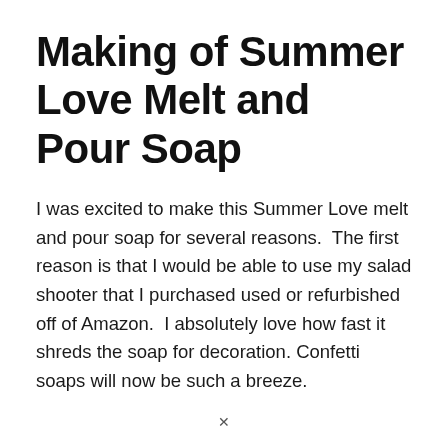Making of Summer Love Melt and Pour Soap
I was excited to make this Summer Love melt and pour soap for several reasons.  The first reason is that I would be able to use my salad shooter that I purchased used or refurbished off of Amazon.  I absolutely love how fast it shreds the soap for decoration.  Confetti soaps will now be such a breeze.